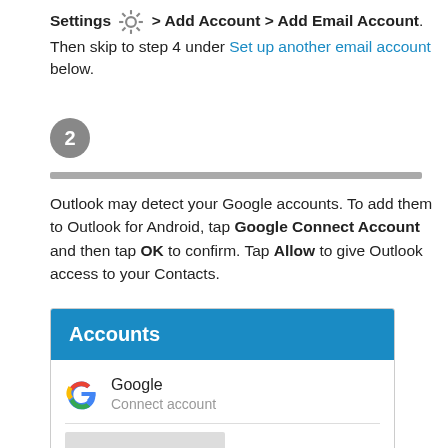Settings [icon] > Add Account > Add Email Account. Then skip to step 4 under Set up another email account below.
2
Outlook may detect your Google accounts. To add them to Outlook for Android, tap Google Connect Account and then tap OK to confirm. Tap Allow to give Outlook access to your Contacts.
[Figure (screenshot): Mobile app screenshot showing an Accounts panel with a blue header labeled Accounts, a Google entry with Connect account subtitle, a horizontal divider, a grey placeholder rectangle, and below it a dialog starting with Add Google account? in blue text and a grey bar beneath.]